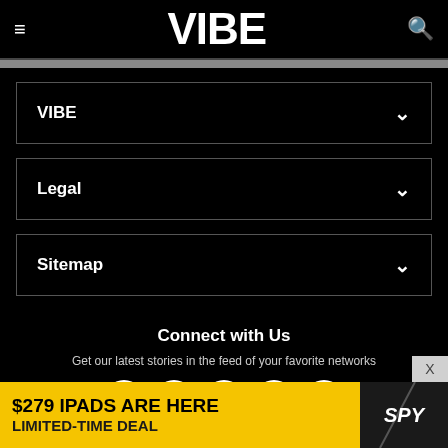VIBE
VIBE
Legal
Sitemap
Connect with Us
Get our latest stories in the feed of your favorite networks
[Figure (other): Social media icons row: Facebook, Twitter, Instagram, Pinterest, YouTube]
[Figure (other): Advertisement banner: $279 IPADS ARE HERE LIMITED-TIME DEAL with SPY logo]